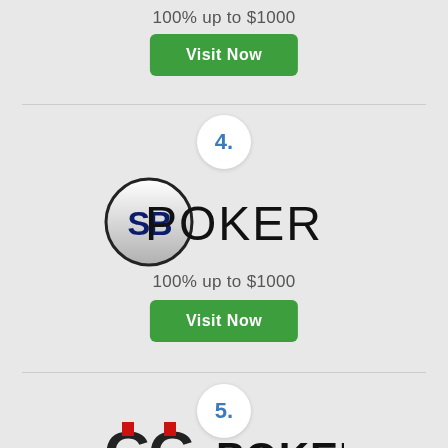100% up to $1000
[Figure (other): Visit Now button (green rounded rectangle)]
[Figure (other): Number 4 badge circle]
[Figure (logo): SB Poker logo - circular SB emblem with POKER text]
100% up to $1000
[Figure (other): Visit Now button (green rounded rectangle)]
[Figure (other): Number 5 badge circle]
[Figure (logo): GG Poker logo - GG emblem with POKER text]